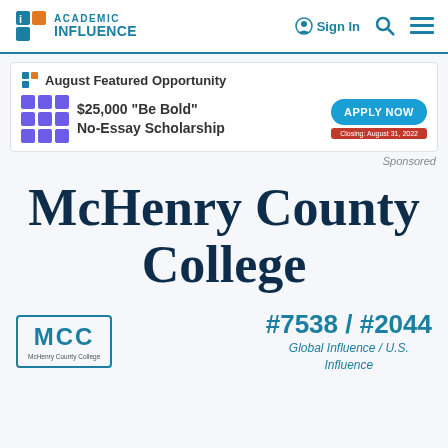ACADEMIC INFLUENCE | Sign In
[Figure (screenshot): Advertisement banner for $25,000 "Be Bold" No-Essay Scholarship with Apply Now button, closing August 31, 2022]
Sponsored
McHenry County College
[Figure (logo): MCC McHenry County College logo in teal border box]
#7538 / #2044 Global Influence / U.S. Influence